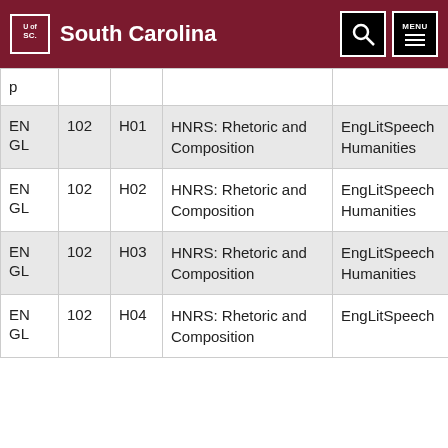University of South Carolina
| Dept | Number | Section | Title | Category |
| --- | --- | --- | --- | --- |
| p |  |  |  |  |
| ENGL | 102 | H01 | HNRS: Rhetoric and Composition | EngLitSpeech Humanities |
| ENGL | 102 | H02 | HNRS: Rhetoric and Composition | EngLitSpeech Humanities |
| ENGL | 102 | H03 | HNRS: Rhetoric and Composition | EngLitSpeech Humanities |
| ENGL | 102 | H04 | HNRS: Rhetoric and Composition | EngLitSpeech |